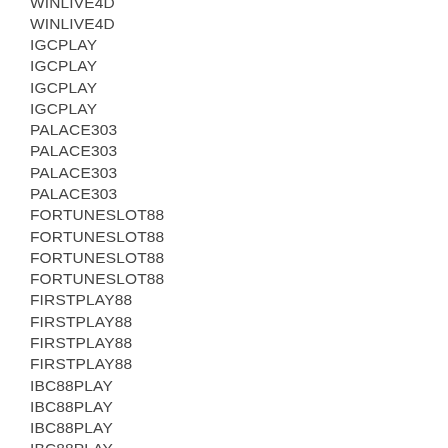WINLIVE4D
WINLIVE4D
IGCPLAY
IGCPLAY
IGCPLAY
IGCPLAY
PALACE303
PALACE303
PALACE303
PALACE303
FORTUNESLOT88
FORTUNESLOT88
FORTUNESLOT88
FORTUNESLOT88
FIRSTPLAY88
FIRSTPLAY88
FIRSTPLAY88
FIRSTPLAY88
IBC88PLAY
IBC88PLAY
IBC88PLAY
IBC88PLAY
TOGAPLAY
TOGAPLAY
TOGAPLAY
TOGAPLAY